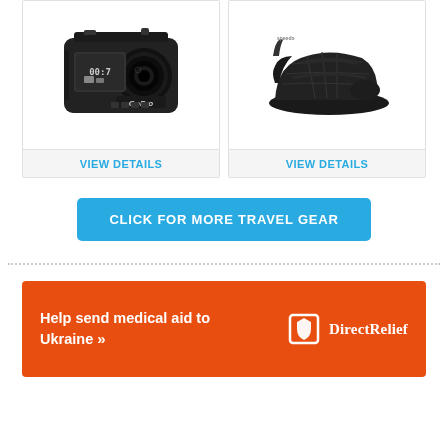[Figure (photo): GoPro Hero 7 action camera, black, angled front view showing lens and display]
VIEW DETAILS
[Figure (photo): Black Speedo water shoe / aqua sock, side view]
VIEW DETAILS
CLICK FOR MORE TRAVEL GEAR
[Figure (infographic): Orange banner ad: Help send medical aid to Ukraine >> with Direct Relief logo]
Help send medical aid to Ukraine >>